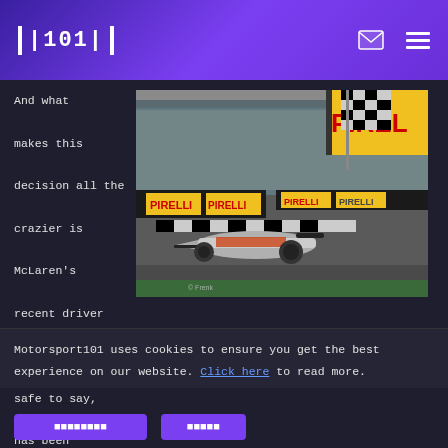101 (logo) | email icon | menu icon
And what makes this decision all the crazier is McLaren's recent driver history, which, safe to say, has been pretty erratic, to say the least. Until this season, this was the first time McLaren had retained the same driver line-up since 2012. Since
[Figure (photo): Formula 1 McLaren race car crossing the finish line under a checkered flag, with Pirelli branding visible on barriers. Crowded grandstands in the background. © Frenk watermark visible.]
Motorsport101 uses cookies to ensure you get the best experience on our website. Click here to read more.